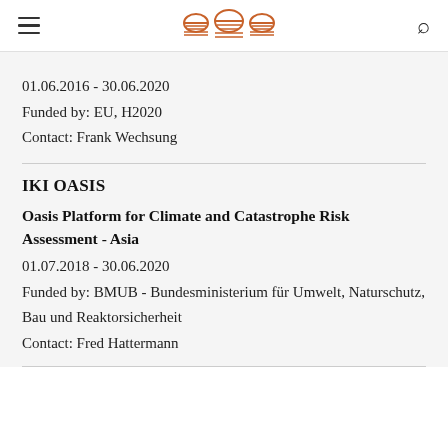[hamburger menu] [PIK logo] [search icon]
01.06.2016 - 30.06.2020
Funded by: EU, H2020
Contact: Frank Wechsung
IKI OASIS
Oasis Platform for Climate and Catastrophe Risk Assessment - Asia
01.07.2018 - 30.06.2020
Funded by: BMUB - Bundesministerium für Umwelt, Naturschutz, Bau und Reaktorsicherheit
Contact: Fred Hattermann